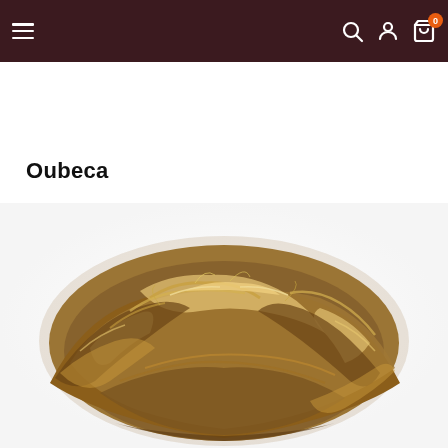Navigation bar with hamburger menu, search, account, and cart icons; cart badge shows 0
Oubeca
[Figure (photo): A messy hair bun/updo scrunchie extension in brown with blonde highlights, shown on a white background. The hair piece is voluminous and textured with wavy, curled strands.]